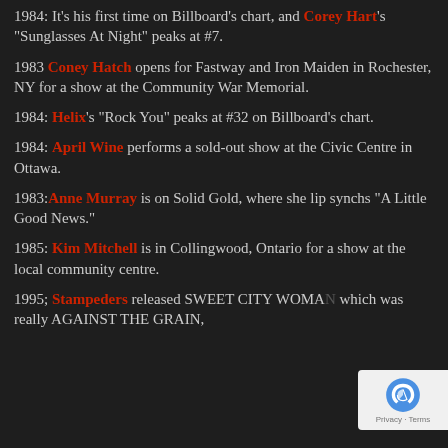1984: It's his first time on Billboard's chart, and Corey Hart's "Sunglasses At Night" peaks at #7.
1983 Coney Hatch opens for Fastway and Iron Maiden in Rochester, NY for a show at the Community War Memorial.
1984: Helix's "Rock You" peaks at #32 on Billboard's chart.
1984: April Wine performs a sold-out show at the Civic Centre in Ottawa.
1983: Anne Murray is on Solid Gold, where she lip synchs "A Little Good News."
1985: Kim Mitchell is in Collingwood, Ontario for a show at the local community centre.
1995; Stampeders released SWEET CITY WOMAN which was really AGAINST THE GRAIN,